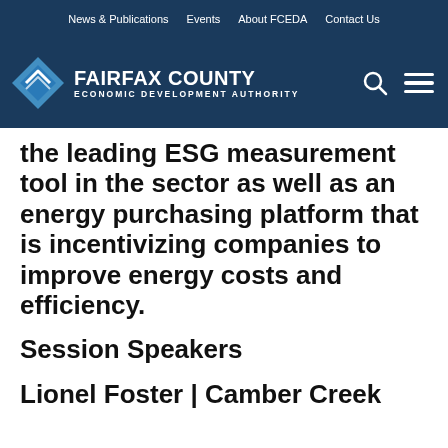News & Publications  Events  About FCEDA  Contact Us
[Figure (logo): Fairfax County Economic Development Authority logo with blue diamond icon and white text on dark blue background]
the leading ESG measurement tool in the sector as well as an energy purchasing platform that is incentivizing companies to improve energy costs and efficiency.
Session Speakers
Lionel Foster | Camber Creek